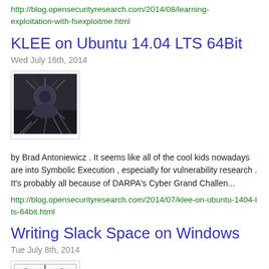http://blog.opensecurityresearch.com/2014/08/learning-exploitation-with-fsexploitme.html
KLEE on Ubuntu 14.04 LTS 64Bit
Wed July 16th, 2014
[Figure (photo): Dark atmospheric image, appears to show a creature or mechanical entity in a dark setting]
by Brad Antoniewicz . It seems like all of the cool kids nowadays are into Symbolic Execution , especially for vulnerability research . It's probably all because of DARPA's Cyber Grand Challen...
http://blog.opensecurityresearch.com/2014/07/klee-on-ubuntu-1404-lts-64bit.html
Writing Slack Space on Windows
Tue July 8th, 2014
[Figure (illustration): Comic-style illustration with two cartoon characters in a panel layout]